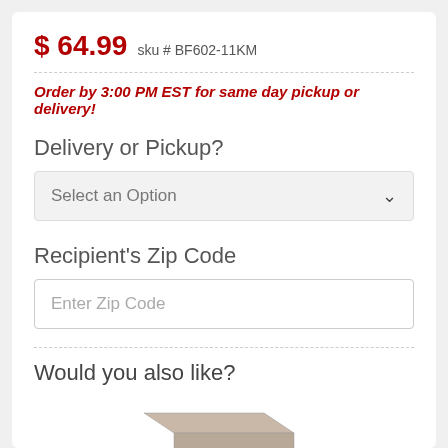$ 64.99  sku # BF602-11KM
Order by 3:00 PM EST for same day pickup or delivery!
Delivery or Pickup?
Select an Option
Recipient's Zip Code
Enter Zip Code
Would you also like?
[Figure (photo): A box of chocolates partially open showing assorted chocolates inside]